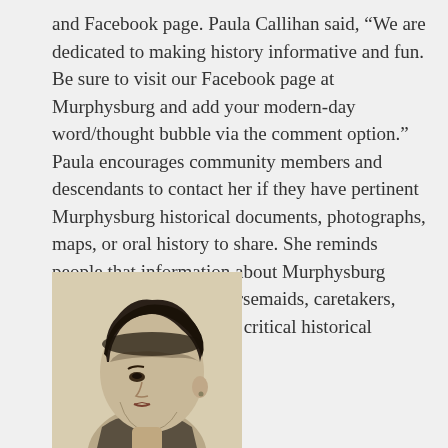and Facebook page. Paula Callihan said, “We are dedicated to making history informative and fun. Be sure to visit our Facebook page at Murphysburg and add your modern-day word/thought bubble via the comment option.” Paula encourages community members and descendants to contact her if they have pertinent Murphysburg historical documents, photographs, maps, or oral history to share. She reminds people that information about Murphysburg housekeepers, cooks, nursemaids, caretakers, chauffeurs, etc., is also a critical historical component.
[Figure (photo): A vintage black-and-white portrait photograph of a woman wearing a hat, shown in profile/three-quarter view, with short curly hair and period clothing.]